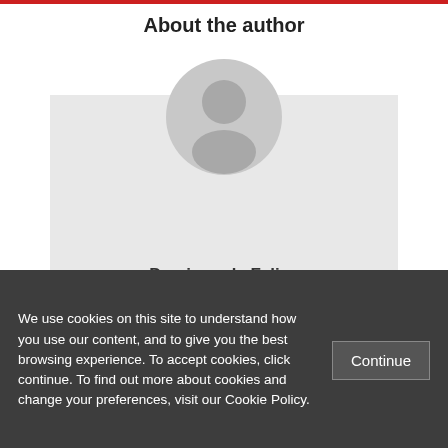About the author
[Figure (illustration): Generic user avatar: grey circle with silhouette of a person, overlapping a light grey card background]
Damiano de Felice
Posted In: Human Rights Impact Assessments | Management tools
We use cookies on this site to understand how you use our content, and to give you the best browsing experience. To accept cookies, click continue. To find out more about cookies and change your preferences, visit our Cookie Policy.